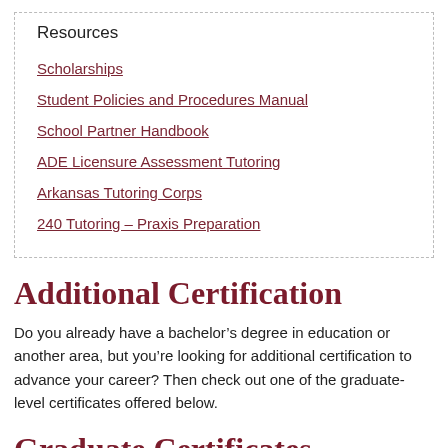Resources
Scholarships
Student Policies and Procedures Manual
School Partner Handbook
ADE Licensure Assessment Tutoring
Arkansas Tutoring Corps
240 Tutoring – Praxis Preparation
Additional Certification
Do you already have a bachelor’s degree in education or another area, but you’re looking for additional certification to advance your career? Then check out one of the graduate-level certificates offered below.
Graduate Certificates